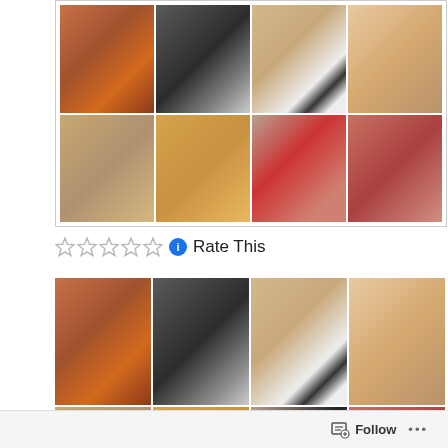[Figure (photo): 2x4 grid of profile photos showing 8 different people — top row: woman in red top, young man in black Lacoste shirt, blonde woman in striped top, young man smiling; bottom row: woman with glasses smiling, woman with dreadlocks and glasses, man in black beret and red jacket, man in red top]
☆☆☆☆☆  ℹ  Rate This
[Figure (photo): Same 2x4 grid of profile photos repeated — larger view showing the same 8 people in the same arrangement, partially cropped at bottom]
Follow ...